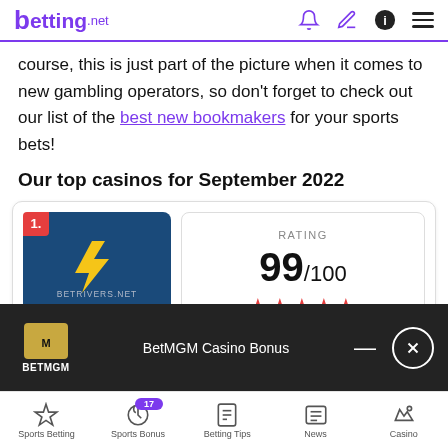betting.net
course, this is just part of the picture when it comes to new gambling operators, so don't forget to check out our list of the best new bookmakers for your sports bets!
Our top casinos for September 2022
[Figure (other): BetRivers.net casino card ranked #1 with RATING 99/100 and 5 stars]
BetRivers.net Social Casino Bonus
BetMGM Casino Bonus
Sports Betting | Sports Bonus 17 | Betting Tips | News | Casino